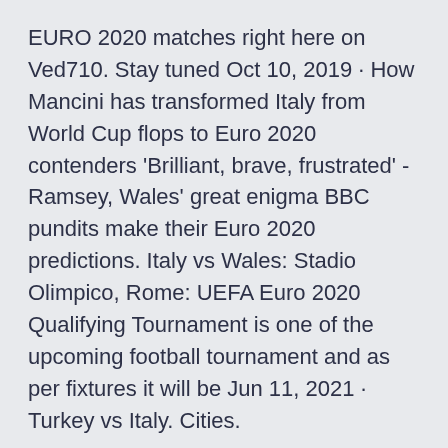EURO 2020 matches right here on Ved710. Stay tuned Oct 10, 2019 · How Mancini has transformed Italy from World Cup flops to Euro 2020 contenders 'Brilliant, brave, frustrated' - Ramsey, Wales' great enigma BBC pundits make their Euro 2020 predictions. Italy vs Wales: Stadio Olimpico, Rome: UEFA Euro 2020 Qualifying Tournament is one of the upcoming football tournament and as per fixtures it will be Jun 11, 2021 · Turkey vs Italy. Cities.